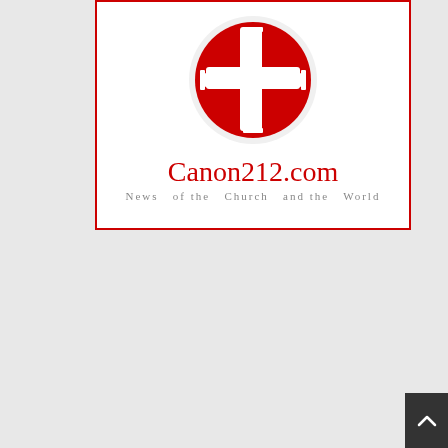[Figure (logo): Canon212.com logo: red circle with white cross on top, red text 'Canon212.com' and subtitle 'News of the Church and the World']
[Figure (logo): Amazon advertisement: yellow bar with 'CLICK HERE TO SHOP' text in bold black, below black background with Amazon logo in grey and orange smile arrow]